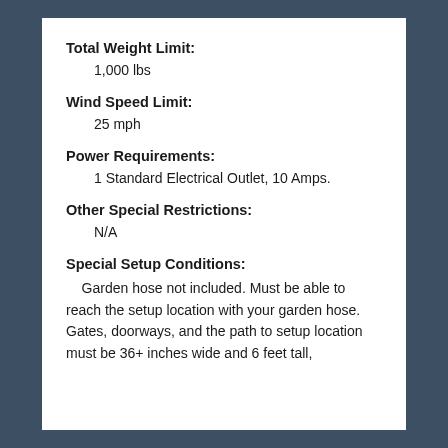Total Weight Limit:
1,000 lbs
Wind Speed Limit:
25 mph
Power Requirements:
1 Standard Electrical Outlet, 10 Amps.
Other Special Restrictions:
N/A
Special Setup Conditions:
Garden hose not included.  Must be able to reach the setup location with your garden hose.  Gates, doorways, and the path to setup location must be 36+ inches wide and 6 feet tall,